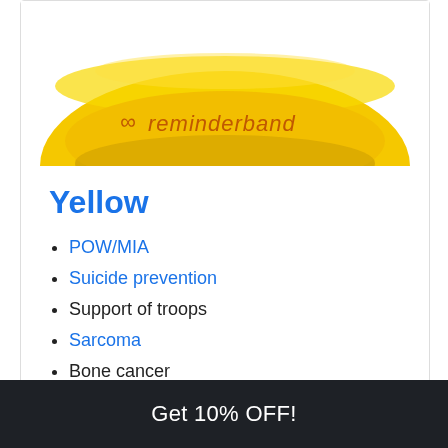[Figure (photo): Yellow rubber wristband with 'reminderband' text and infinity logo printed in orange/dark yellow, photographed against white background, showing the top arc of the band.]
Yellow
POW/MIA
Suicide prevention
Support of troops
Sarcoma
Bone cancer
Endometriosis
Get 10% OFF!